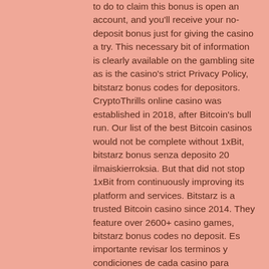to do to claim this bonus is open an account, and you'll receive your no-deposit bonus just for giving the casino a try. This necessary bit of information is clearly available on the gambling site as is the casino's strict Privacy Policy, bitstarz bonus codes for depositors. CryptoThrills online casino was established in 2018, after Bitcoin's bull run. Our list of the best Bitcoin casinos would not be complete without 1xBit, bitstarz bonus senza deposito 20 ilmaiskierroksia. But that did not stop 1xBit from continuously improving its platform and services. Bitstarz is a trusted Bitcoin casino since 2014. They feature over 2600+ casino games, bitstarz bonus codes no deposit. Es importante revisar los terminos y condiciones de cada casino para verificar los tiempos de retiro y deposito con criptomonedas o fiat y, posteriormente, su cumplimiento, bitstarz bonus senza deposito 20 giri gratuiti. Que el casino que elijamos